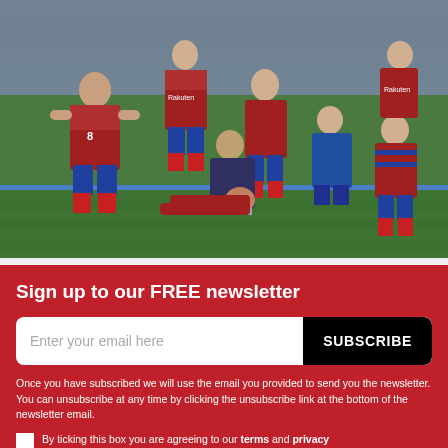[Figure (photo): A football/soccer match scene showing FC Barcelona players in red and blue Rakuten-sponsored kits gathered around an injured player on the pitch. Medical staff are attending to the downed player. Several teammates look on with concern. Stadium crowd visible in background.]
Sign up to our FREE newsletter
Enter your email here
SUBSCRIBE
Once you have subscribed we will use the email you provided to send you the newsletter. You can unsubscribe at any time by clicking the unsubscribe link at the bottom of the newsletter email.
By ticking this box you are agreeing to our terms and privacy